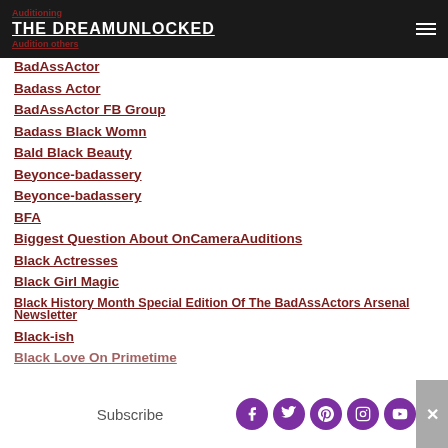THE DREAMUNLOCKED
Auditioning
Audition others
BadAssActor
Badass Actor
BadAssActor FB Group
Badass Black Womn
Bald Black Beauty
Beyonce-badassery
Beyonce-badassery
BFA
Biggest Question About OnCameraAuditions
Black Actresses
Black Girl Magic
Black History Month Special Edition Of The BadAssActors Arsenal Newsletter
Black-ish
Black Love On Primetime
Subscribe